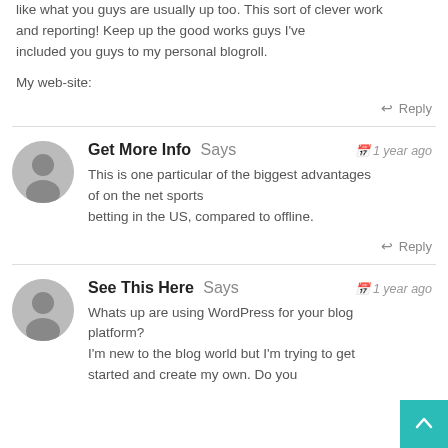like what you guys are usually up too. This sort of clever work and reporting! Keep up the good works guys I've included you guys to my personal blogroll.
My web-site:
↩ Reply
Get More Info Says — 1 year ago
This is one particular of the biggest advantages of on the net sports betting in the US, compared to offline.
↩ Reply
See This Here Says — 1 year ago
Whats up are using WordPress for your blog platform? I'm new to the blog world but I'm trying to get started and create my own. Do you